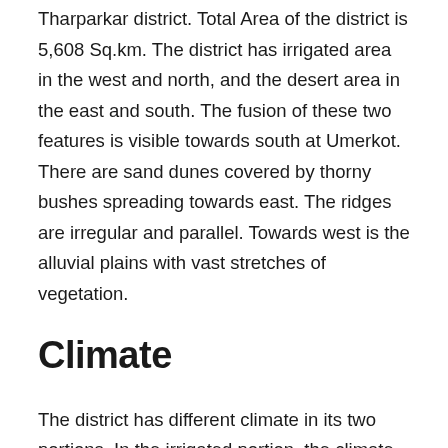Tharparkar district. Total Area of the district is 5,608 Sq.km. The district has irrigated area in the west and north, and the desert area in the east and south. The fusion of these two features is visible towards south at Umerkot. There are sand dunes covered by thorny bushes spreading towards east. The ridges are irregular and parallel. Towards west is the alluvial plains with vast stretches of vegetation.
Climate
The district has different climate in its two portions. In the irrigated portion, the climate is temperate, neither exceedingly hot nor very cold in winter as compared to the eastern desert area. The summer heat is reduced by